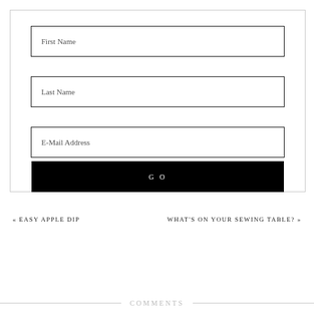[Figure (other): A form with three input fields labeled First Name, Last Name, E-Mail Address, and a black GO button]
« EASY APPLE DIP
WHAT'S ON YOUR SEWING TABLE? »
COMMENTS